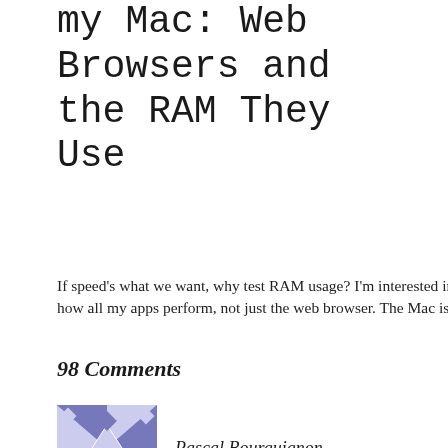my Mac: Web Browsers and the RAM They Use
If speed's what we want, why test RAM usage? I'm interested in how all my apps perform, not just the web browser. The Mac is
November 14, 2011
In "100% Geek"
98 Comments
Pascal Bourguignon